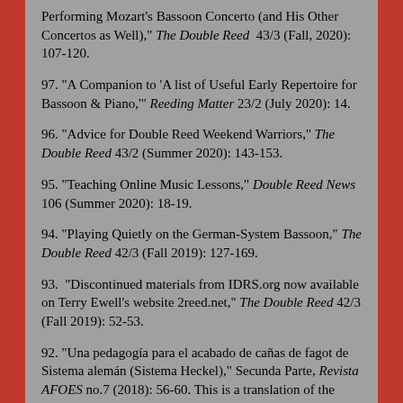Performing Mozart's Bassoon Concerto (and His Other Concertos as Well)," The Double Reed 43/3 (Fall, 2020): 107-120.
97. "A Companion to 'A list of Useful Early Repertoire for Bassoon & Piano,'" Reeding Matter 23/2 (July 2020): 14.
96. "Advice for Double Reed Weekend Warriors," The Double Reed 43/2 (Summer 2020): 143-153.
95. "Teaching Online Music Lessons," Double Reed News 106 (Summer 2020): 18-19.
94. "Playing Quietly on the German-System Bassoon," The Double Reed 42/3 (Fall 2019): 127-169.
93. "Discontinued materials from IDRS.org now available on Terry Ewell's website 2reed.net," The Double Reed 42/3 (Fall 2019): 52-53.
92. "Una pedagogía para el acabado de cañas de fagot de Sistema alemán (Sistema Heckel)," Secunda Parte, Revista AFOES no.7 (2018): 56-60. This is a translation of the second part of an updated version